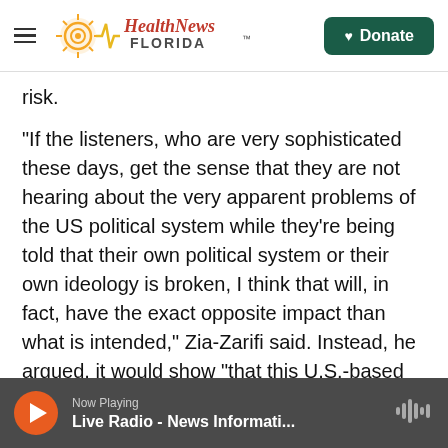Health News Florida — Donate
risk.
"If the listeners, who are very sophisticated these days, get the sense that they are not hearing about the very apparent problems of the US political system while they're being told that their own political system or their own ideology is broken, I think that will, in fact, have the exact opposite impact than what is intended," Zia-Zarifi said. Instead, he argued, it would show "that this U.S.-based platform is just another biased government mouthpiece."
Now Playing — Live Radio - News Informati...